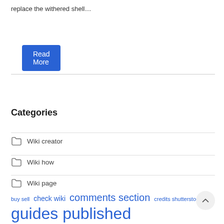replace the withered shell…
Read More
Categories
Wiki creator
Wiki how
Wiki page
Wiki sites
buy sell  check wiki  comments section  credits shutterstock
guides published